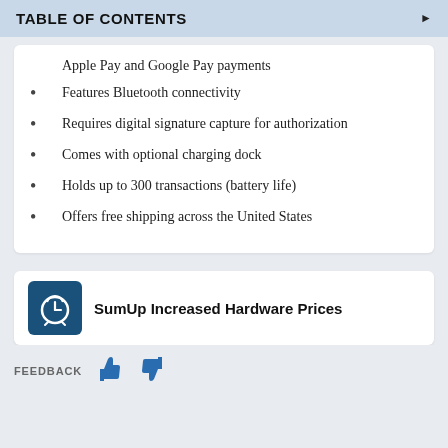TABLE OF CONTENTS
Apple Pay and Google Pay payments
Features Bluetooth connectivity
Requires digital signature capture for authorization
Comes with optional charging dock
Holds up to 300 transactions (battery life)
Offers free shipping across the United States
SumUp Increased Hardware Prices
FEEDBACK